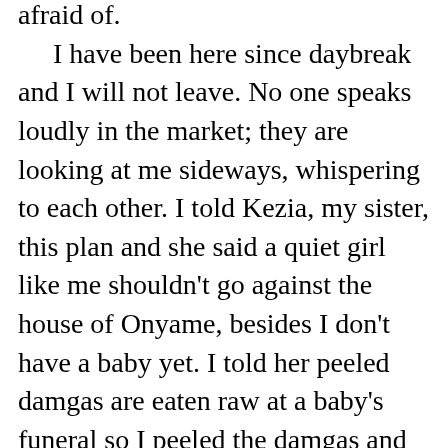afraid of. I have been here since daybreak and I will not leave. No one speaks loudly in the market; they are looking at me sideways, whispering to each other. I told Kezia, my sister, this plan and she said a quiet girl like me shouldn't go against the house of Onyame, besides I don't have a baby yet. I told her peeled damgas are eaten raw at a baby's funeral so I peeled the damgas and carried them here to prove my point. Kezia shook her head and told me it was my own funeral. I am going to be sick. Big green flies land on my nose and the air around me is getting hotter. I can smell the sweat that is running down my armpit in rivulets, and the voices of